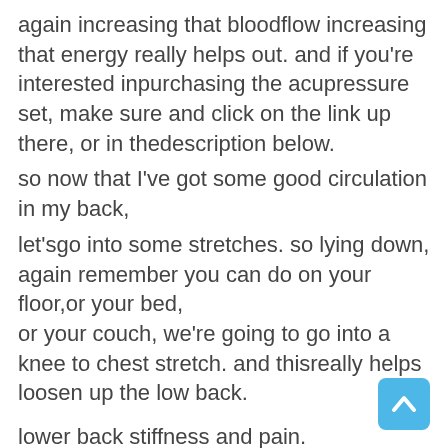again increasing that bloodflow increasing that energy really helps out. and if you're interested inpurchasing the acupressure set, make sure and click on the link up there, or in thedescription below.
so now that I've got some good circulation in my back,
let'sgo into some stretches. so lying down, again remember you can do on your floor,or your bed,  or your couch, we're going to go into a knee to chest stretch. and thisreally helps loosen up the low back.
lower back stiffness and pain.  some people ask because there's some bendingif you have a disc issue or something you shouldn't be doing it, but thisdoesn't really Bend that back enough to make a difference. so a knee to chest